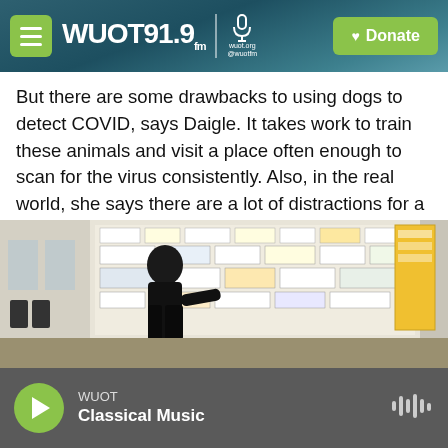WUOT 91.9 FM | wuot.org @wuotfm | Donate
But there are some drawbacks to using dogs to detect COVID, says Daigle. It takes work to train these animals and visit a place often enough to scan for the virus consistently. Also, in the real world, she says there are a lot of distractions for a dog that might interfere with their ability to detect the target scent, like perfume or soap.
Another way to prevent COVID
[Figure (photo): A person in a dark uniform standing in front of a large board covered with papers, schedules, and notices, likely in an operational or dispatch center.]
WUOT Classical Music